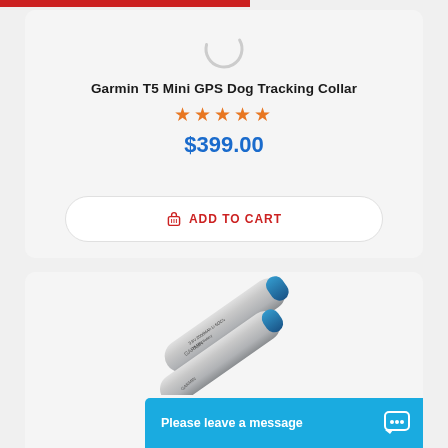Garmin T5 Mini GPS Dog Tracking Collar
★★★★★
$399.00
ADD TO CART
[Figure (photo): Garmin T5 Mini GPS battery/device shown at an angle, silver cylindrical device with blue accents and Garmin branding]
Please leave a message